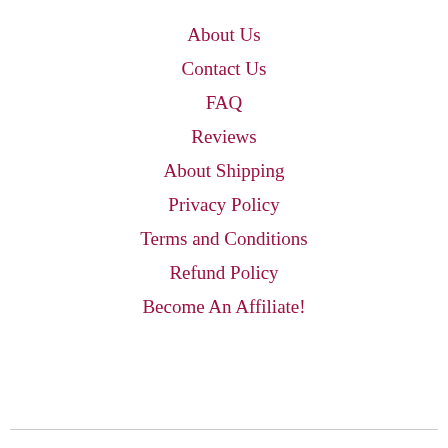About Us
Contact Us
FAQ
Reviews
About Shipping
Privacy Policy
Terms and Conditions
Refund Policy
Become An Affiliate!